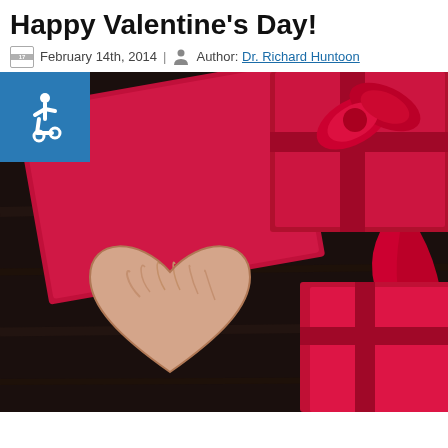Happy Valentine's Day!
February 14th, 2014 | Author: Dr. Richard Huntoon
[Figure (photo): Valentine's Day photo showing a wooden heart, red gift boxes with ribbon, and a red envelope on a dark wood surface. An accessibility (wheelchair) icon badge is overlaid in the top-left corner.]